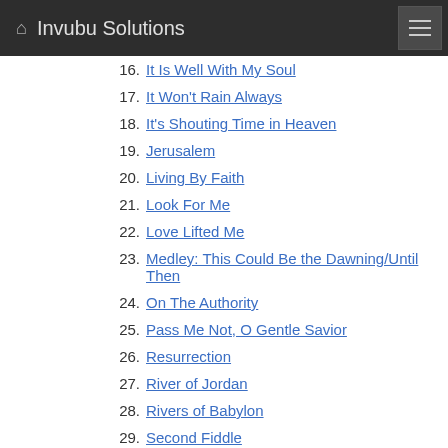Invubu Solutions
16. It Is Well With My Soul
17. It Won't Rain Always
18. It's Shouting Time in Heaven
19. Jerusalem
20. Living By Faith
21. Look For Me
22. Love Lifted Me
23. Medley: This Could Be the Dawning/Until Then
24. On The Authority
25. Pass Me Not, O Gentle Savior
26. Resurrection
27. River of Jordan
28. Rivers of Babylon
29. Second Fiddle
30. The Blood Will Never Lose It's Power
31. The Lighthouse
32. The River Keeps A-Rollin'
33. There's Something About That Name